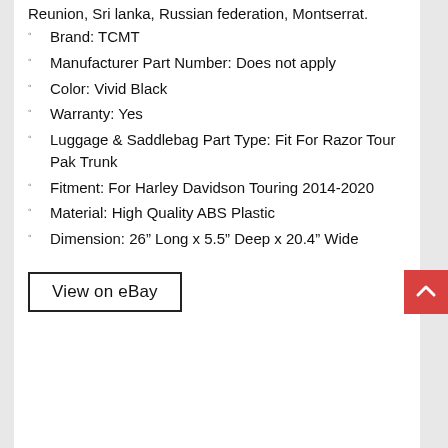Reunion, Sri lanka, Russian federation, Montserrat.
Brand: TCMT
Manufacturer Part Number: Does not apply
Color: Vivid Black
Warranty: Yes
Luggage & Saddlebag Part Type: Fit For Razor Tour Pak Trunk
Fitment: For Harley Davidson Touring 2014-2020
Material: High Quality ABS Plastic
Dimension: 26” Long x 5.5” Deep x 20.4” Wide
View on eBay